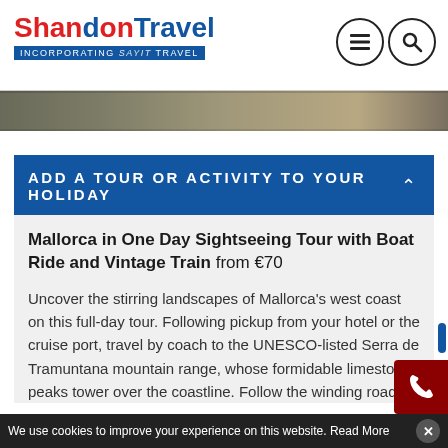[Figure (logo): Shandon Travel incorporating Sayit Travel logo — red and blue wordmark with subtitle banner]
[Figure (other): Navigation icon buttons (hamburger menu and search) — two circular outline icons]
[Figure (photo): Hero/banner image strip — landscape photo strip showing outdoor scenery]
ADD A TOUR OR ACTIVITY TO YOUR HOLIDAY
Mallorca in One Day Sightseeing Tour with Boat Ride and Vintage Train from €70
Uncover the stirring landscapes of Mallorca's west coast on this full-day tour. Following pickup from your hotel or the cruise port, travel by coach to the UNESCO-listed Serra de Tramuntana mountain range, whose formidable limestone peaks tower over the coastline. Follow the winding roads to La Calobra, where you'll catch a boat to the coastal village of Port Soller. After free time to do as much or as little as you
We use cookies to improve your experience on this website. Read More